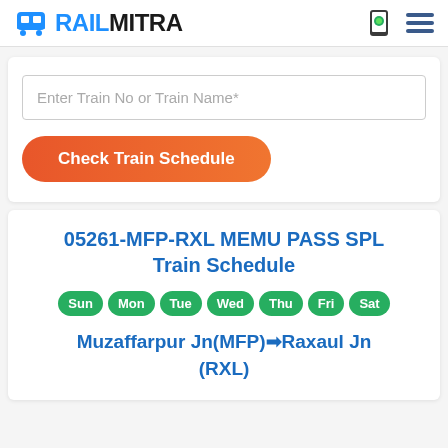RAILMITRA
Enter Train No or Train Name*
Check Train Schedule
05261-MFP-RXL MEMU PASS SPL Train Schedule
Sun Mon Tue Wed Thu Fri Sat
Muzaffarpur Jn(MFP)→Raxaul Jn (RXL)